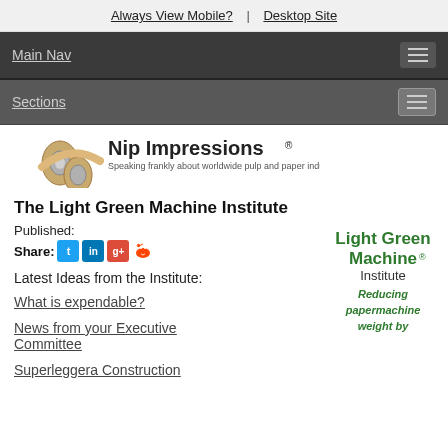Always View Mobile? | Desktop Site
Main Nav
Sections
[Figure (logo): Nip Impressions logo — rolls of paper with text 'Nip Impressions® Speaking frankly about worldwide pulp and paper industry since 2001']
The Light Green Machine Institute
Published:
Share: [Twitter] [LinkedIn] [Google+] [Reddit]
Latest Ideas from the Institute:
What is expendable?
News from your Executive Committee
Superleggera Construction
[Figure (logo): Light Green Machine Institute logo — green text 'Light Green Machine® Institute' with italic text 'Reducing papermachine weight by']